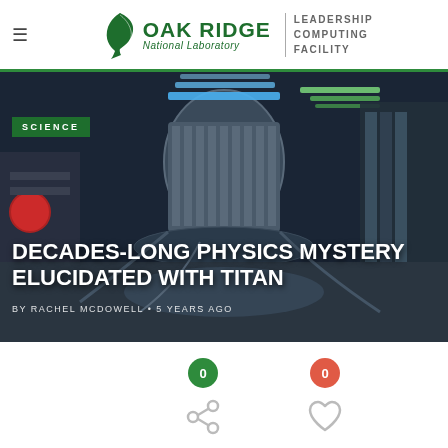Oak Ridge National Laboratory | Leadership Computing Facility
[Figure (photo): Interior view of a fusion reactor tokamak device, showing cylindrical metallic chamber with blue lighting, cables and machinery surrounding it. Panoramic/fisheye perspective.]
SCIENCE
DECADES-LONG PHYSICS MYSTERY ELUCIDATED WITH TITAN
BY RACHEL MCDOWELL • 5 YEARS AGO
0
0